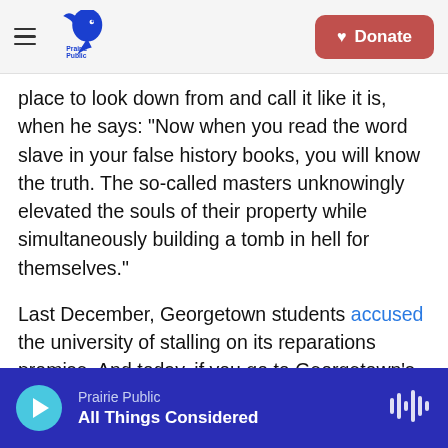Prairie Public | Donate
place to look down from and call it like it is, when he says: "Now when you read the word slave in your false history books, you will know the truth. The so-called masters unknowingly elevated the souls of their property while simultaneously building a tomb in hell for themselves."
Last December, Georgetown students accused the university of stalling on its reparations promise. And today, if you go to Georgetown's website, it's not easy to find the history that Carlos Simon has set to music. Music that, in all its beauty and struggle, is a warning against history repeating
Prairie Public | All Things Considered